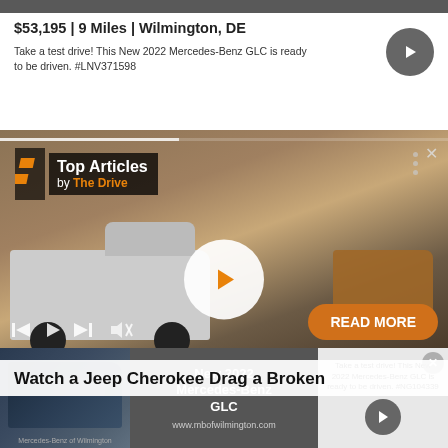$53,195 | 9 Miles | Wilmington, DE
Take a test drive! This New 2022 Mercedes-Benz GLC is ready to be driven. #LNV371598
[Figure (screenshot): Video player showing trucks on rocky terrain with Top Articles by The Drive overlay, play button, controls, and READ MORE button]
Watch a Jeep Cherokee Drag a Broken
[Figure (screenshot): Bottom overlay advertisement for New 2022 Mercedes-Benz GLC showing car image, title, website URL mbofwilmington.com, and ad text with arrow button]